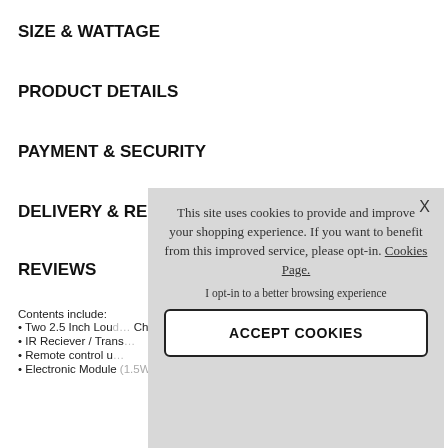SIZE & WATTAGE
PRODUCT DETAILS
PAYMENT & SECURITY
DELIVERY & RE…
REVIEWS
Contents include:
• Two 2.5 Inch Loud… Chrome)
• IR Reciever / Trans…
• Remote control u…
• Electronic Module (1.5W – 1.5W Stereo Output)
This site uses cookies to provide and improve your shopping experience. If you want to benefit from this improved service, please opt-in. Cookies Page.
I opt-in to a better browsing experience
ACCEPT COOKIES